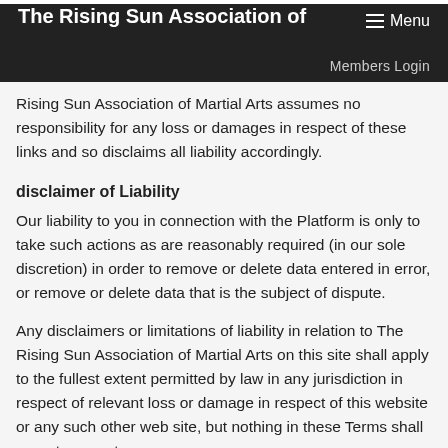The Rising Sun Association of
Rising Sun Association of Martial Arts assumes no responsibility for any loss or damages in respect of these links and so disclaims all liability accordingly.
disclaimer of Liability
Our liability to you in connection with the Platform is only to take such actions as are reasonably required (in our sole discretion) in order to remove or delete data entered in error, or remove or delete data that is the subject of dispute.
Any disclaimers or limitations of liability in relation to The Rising Sun Association of Martial Arts on this site shall apply to the fullest extent permitted by law in any jurisdiction in respect of relevant loss or damage in respect of this website or any such other web site, but nothing in these Terms shall operate so as to